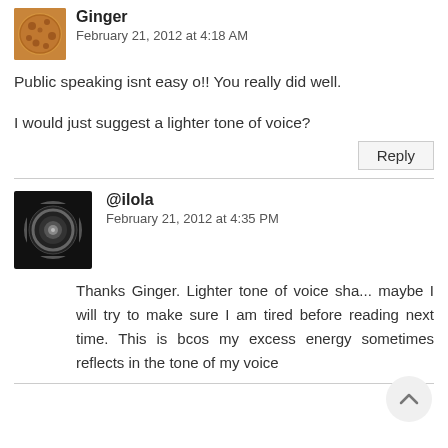Ginger
February 21, 2012 at 4:18 AM
Public speaking isnt easy o!! You really did well.
I would just suggest a lighter tone of voice?
Reply
@ilola
February 21, 2012 at 4:35 PM
Thanks Ginger. Lighter tone of voice sha... maybe I will try to make sure I am tired before reading next time. This is bcos my excess energy sometimes reflects in the tone of my voice